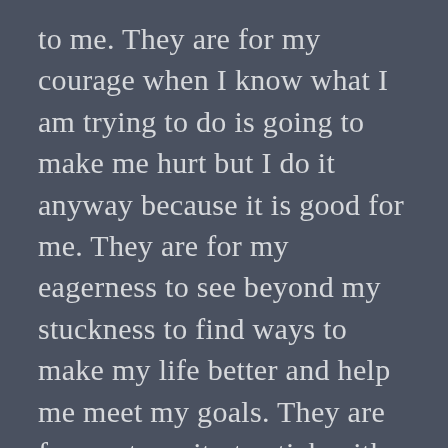to me. They are for my courage when I know what I am trying to do is going to make me hurt but I do it anyway because it is good for me. They are for my eagerness to see beyond my stuckness to find ways to make my life better and help me meet my goals. They are for my tenacity to stick with a decision even when I get tired and discouraged and question whether I can really do